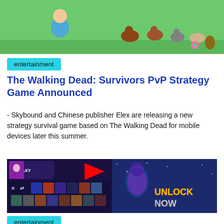[Figure (illustration): Colorful cartoon game scene with a character running and turkeys/birds on green background]
entertainment
The Walking Dead: Survivors PvP Strategy Game Announced
- Skybound and Chinese publisher Elex are releasing a new strategy survival game based on The Walking Dead for mobile devices later this summer.
[Figure (screenshot): Fortnite Galaxy outfit unlock screen showing character selection grid on left and galaxy-skinned character with UNLOCK NOW text on right]
entertainment